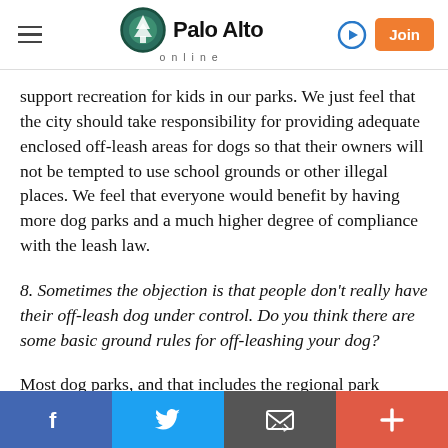Palo Alto online — hamburger menu, login arrow, Join button
support recreation for kids in our parks. We just feel that the city should take responsibility for providing adequate enclosed off-leash areas for dogs so that their owners will not be tempted to use school grounds or other illegal places. We feel that everyone would benefit by having more dog parks and a much higher degree of compliance with the leash law.
8. Sometimes the objection is that people don't really have their off-leash dog under control. Do you think there are some basic ground rules for off-leashing your dog?
Most dog parks, and that includes the regional park district facilities that allow off-leash dogs, have rules…
Social share bar: Facebook, Twitter, Email, Plus